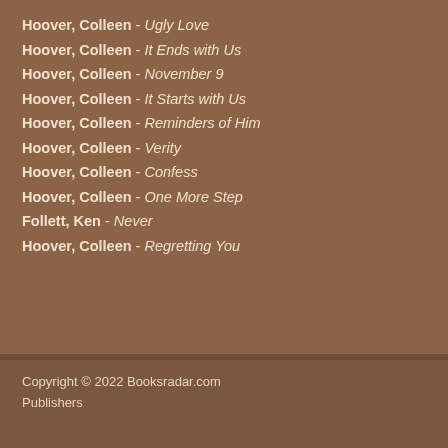Hoover, Colleen - Ugly Love
Hoover, Colleen - It Ends with Us
Hoover, Colleen - November 9
Hoover, Colleen - It Starts with Us
Hoover, Colleen - Reminders of Him
Hoover, Colleen - Verity
Hoover, Colleen - Confess
Hoover, Colleen - One More Step
Follett, Ken - Never
Hoover, Colleen - Regretting You
Copyright © 2022 Booksradar.com
Publishers